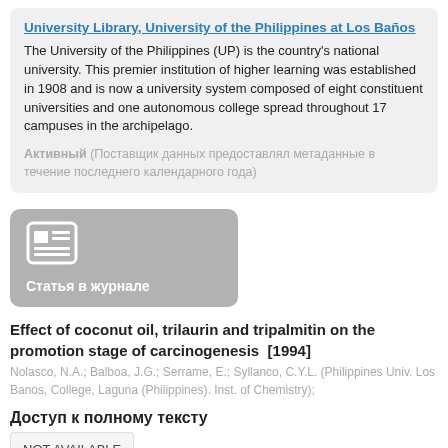University Library, University of the Philippines at Los Baños
The University of the Philippines (UP) is the country's national university. This premier institution of higher learning was established in 1908 and is now a university system composed of eight constituent universities and one autonomous college spread throughout 17 campuses in the archipelago.
Активный (Поставщик данных предоставлял метаданные в течение последнего календарного года)
[Figure (illustration): Gray rounded rectangle with newspaper/article icon and label 'Статья в журнале' (Journal article)]
Effect of coconut oil, trilaurin and tripalmitin on the promotion stage of carcinogenesis [1994]
Nolasco, N.A.; Balboa, J.G.; Serrame, E.; Syllanco, C.Y.L. (Philippines Univ. Los Banos, College, Laguna (Philippines). Inst. of Chemistry);
Доступ к полному тексту
NOT AVAILABLE